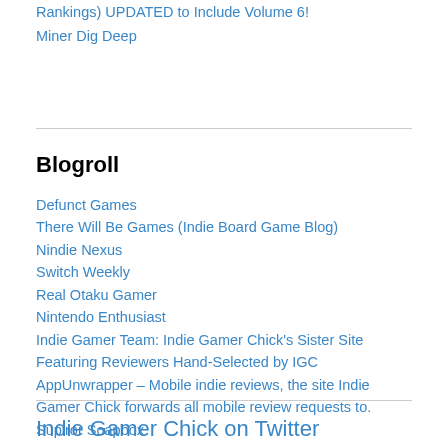Rankings) UPDATED to Include Volume 6!
Miner Dig Deep
Blogroll
Defunct Games
There Will Be Games (Indie Board Game Blog)
Nindie Nexus
Switch Weekly
Real Otaku Gamer
Nintendo Enthusiast
Indie Gamer Team: Indie Gamer Chick's Sister Site Featuring Reviewers Hand-Selected by IGC
AppUnwrapper – Mobile indie reviews, the site Indie Gamer Chick forwards all mobile review requests to.
Supiror Soapbox
Indie Gamer Chick on Twitter